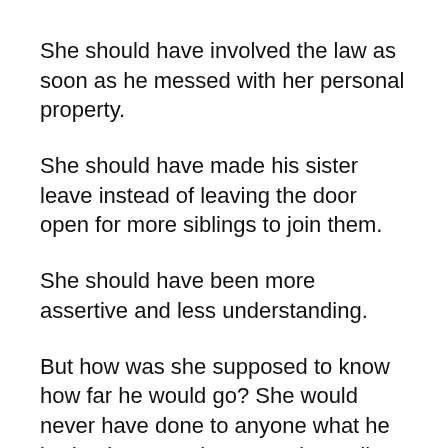She should have involved the law as soon as he messed with her personal property.
She should have made his sister leave instead of leaving the door open for more siblings to join them.
She should have been more assertive and less understanding.
But how was she supposed to know how far he would go? She would never have done to anyone what he had to her. Now it was too late. All she could do was accept the reality of what her home